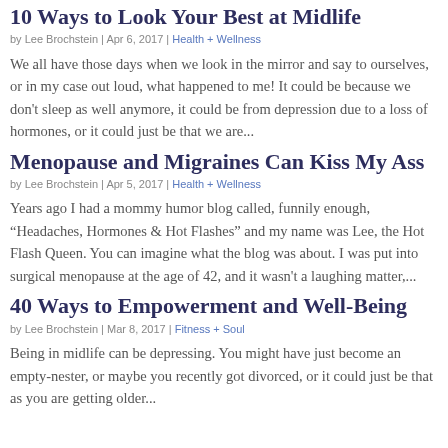10 Ways to Look Your Best at Midlife
by Lee Brochstein | Apr 6, 2017 | Health + Wellness
We all have those days when we look in the mirror and say to ourselves, or in my case out loud, what happened to me! It could be because we don't sleep as well anymore, it could be from depression due to a loss of hormones, or it could just be that we are...
Menopause and Migraines Can Kiss My Ass
by Lee Brochstein | Apr 5, 2017 | Health + Wellness
Years ago I had a mommy humor blog called, funnily enough, “Headaches, Hormones & Hot Flashes” and my name was Lee, the Hot Flash Queen. You can imagine what the blog was about. I was put into surgical menopause at the age of 42, and it wasn't a laughing matter,...
40 Ways to Empowerment and Well-Being
by Lee Brochstein | Mar 8, 2017 | Fitness + Soul
Being in midlife can be depressing. You might have just become an empty-nester, or maybe you recently got divorced, or it could just be that as you are getting older...